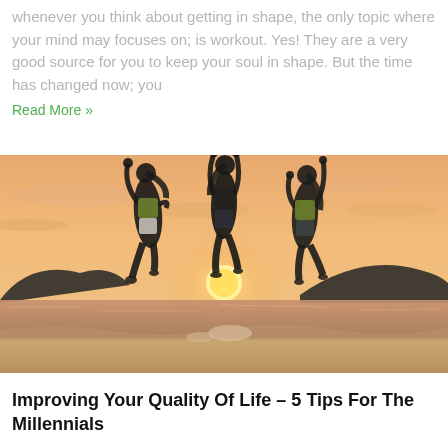whenever you think about getting in shape, the only topic where your mind may focuses on; is workout. Yes! They are a very good source for you to keep your soul in shape. But the time has changed now; you
Read More »
[Figure (photo): Three young women jumping joyfully at a beach during sunset, arms raised, silhouetted against an orange sky with hills and ocean in the background.]
Improving Your Quality Of Life – 5 Tips For The Millennials